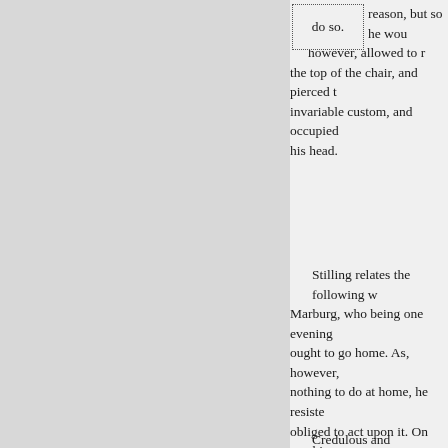do so.    reason, but so he wou however, allowed to r the top of the chair, and pierced t invariable custom, and occupied his head.
Stilling relates the following w Marburg, who being one evening ought to go home. As, however, nothing to do at home, he resiste obliged to act upon it. On reachi desire to remove his bed from th impulse seemed more vain and a likewise. Summoning the maid, friends for the remainder of the e night he was awakened by a loud part of the ceiling with it, on the previous evening.
Credulous and superstitious as foregoing narrative is so circums reject it without at the same time is greatly diminished by a somew
Towards the close of the last ce